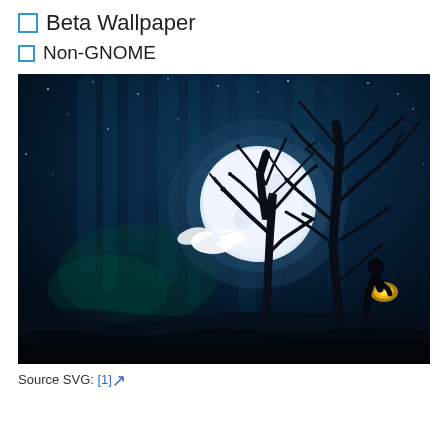Beta Wallpaper
Non-GNOME
[Figure (illustration): A nighttime illustration showing a large full moon glowing white/pale blue against a deep dark blue sky with subtle aurora-like vertical light streaks. In the foreground are silhouetted bare trees with gnarled branches. A white owl or bird figure flies near the moon's center. On the right side, a dark silhouetted figure stands holding something glowing golden. Rolling dark hills form the ground level.]
Source SVG: [1]